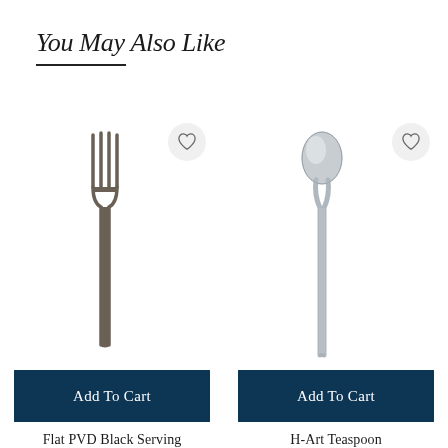You May Also Like
[Figure (illustration): Dark bronze/gunmetal colored dinner fork on white background with heart/wishlist button]
[Figure (illustration): Silver teaspoon on white background with heart/wishlist button]
Add To Cart
Add To Cart
Flat PVD Black Serving
H-Art Teaspoon